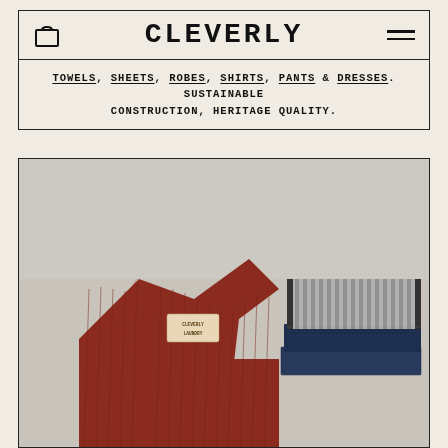CLEVERLY
TOWELS, SHEETS, ROBES, SHIRTS, PANTS & DRESSES. SUSTAINABLE CONSTRUCTION, HERITAGE QUALITY.
[Figure (photo): Flatlay product photo showing a red/burgundy ribbed robe with a 'Cleverly Laundry' label visible at the collar, and folded navy/grey striped towels stacked beside it, on a light grey background.]